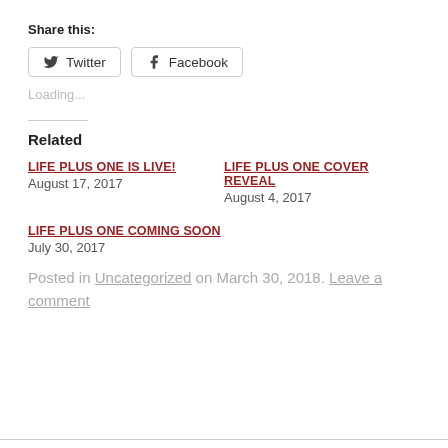Share this:
Twitter   Facebook
Loading...
Related
LIFE PLUS ONE IS LIVE!
August 17, 2017
LIFE PLUS ONE COVER REVEAL
August 4, 2017
LIFE PLUS ONE COMING SOON
July 30, 2017
Posted in Uncategorized on March 30, 2018. Leave a comment